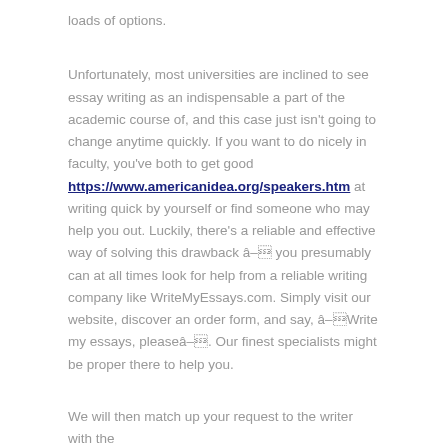loads of options.
Unfortunately, most universities are inclined to see essay writing as an indispensable a part of the academic course of, and this case just isn't going to change anytime quickly. If you want to do nicely in faculty, you've both to get good https://www.americanidea.org/speakers.htm at writing quick by yourself or find someone who may help you out. Luckily, there's a reliable and effective way of solving this drawback â you presumably can at all times look for help from a reliable writing company like WriteMyEssays.com. Simply visit our website, discover an order form, and say, âWrite my essays, pleaseâ. Our finest specialists might be proper there to help you.
We will then match up your request to the writer with the